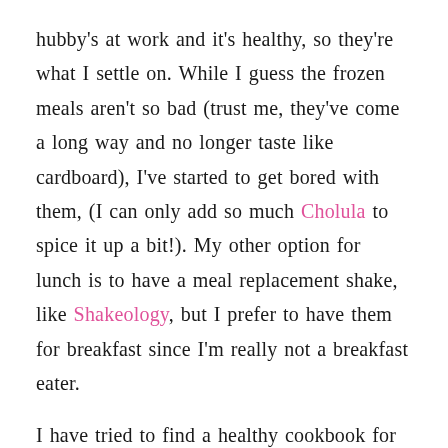hubby's at work and it's healthy, so they're what I settle on.  While I guess the frozen meals aren't so bad (trust me, they've come a long way and no longer taste like cardboard), I've started to get bored with them, (I can only add so much Cholula to spice it up a bit!).  My other option for lunch is to have a meal replacement shake, like Shakeology, but I prefer to have them for breakfast since I'm really not a breakfast eater.
I have tried to find a healthy cookbook for one, but it seems like there are tons of ingredients to chop, sauté, cook, leave on simmer…the list could go on for a long time!  THIS is the only recipe I've made for lunch, then used the leftovers for dinner